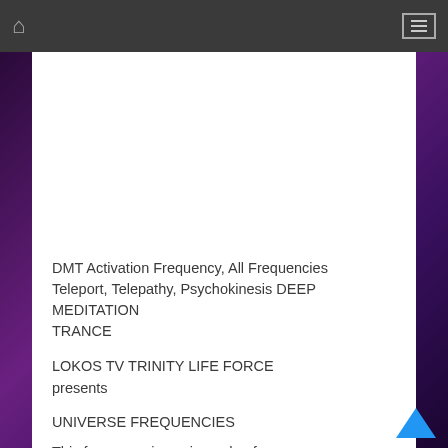Home | Menu
DMT Activation Frequency, All Frequencies Teleport, Telepathy, Psychokinesis DEEP MEDITATION TRANCE
LOKOS TV TRINITY LIFE FORCE
presents
UNIVERSE FREQUENCIES
This frequency is a mix made of:
0.5 – 4 Hz Deep Meditation Trance State
1 – 3 Hz Delta Trance State Range